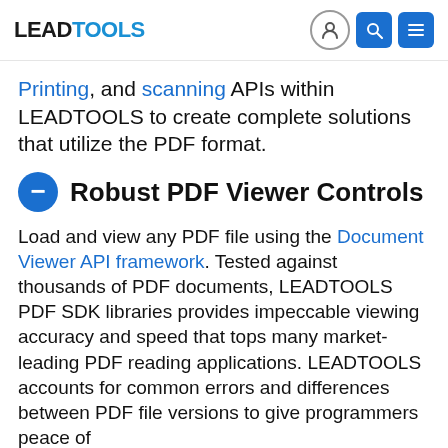LEADTOOLS
Printing, and scanning APIs within LEADTOOLS to create complete solutions that utilize the PDF format.
Robust PDF Viewer Controls
Load and view any PDF file using the Document Viewer API framework. Tested against thousands of PDF documents, LEADTOOLS PDF SDK libraries provides impeccable viewing accuracy and speed that tops many market-leading PDF reading applications. LEADTOOLS accounts for common errors and differences between PDF file versions to give programmers peace of